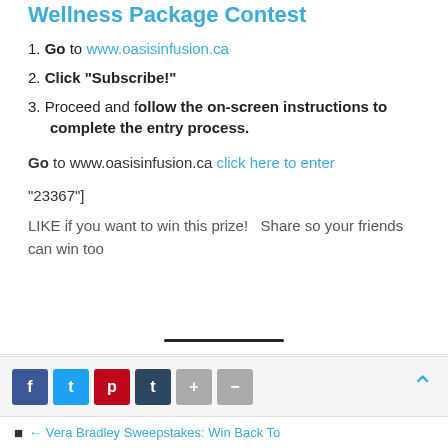Wellness Package Contest
1. Go to www.oasisinfusion.ca
2. Click “Subscribe!”
3. Proceed and follow the on-screen instructions to complete the entry process.
Go to www.oasisinfusion.ca click here to enter
“23367”]
LIKE if you want to win this prize!   Share so your friends can win too
f  t  p  t  +  —   ⌃   ← Vera Bradley Sweepstakes: Win Back To